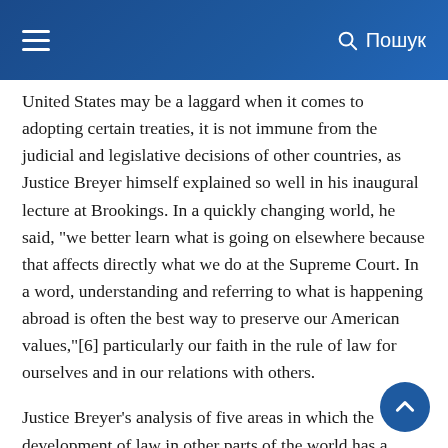≡   Пошук
United States may be a laggard when it comes to adopting certain treaties, it is not immune from the judicial and legislative decisions of other countries, as Justice Breyer himself explained so well in his inaugural lecture at Brookings. In a quickly changing world, he said, "we better learn what is going on elsewhere because that affects directly what we do at the Supreme Court. In a word, understanding and referring to what is happening abroad is often the best way to preserve our American values,"[6] particularly our faith in the rule of law for ourselves and in our relations with others.
Justice Breyer's analysis of five areas in which the development of law in other parts of the world has a